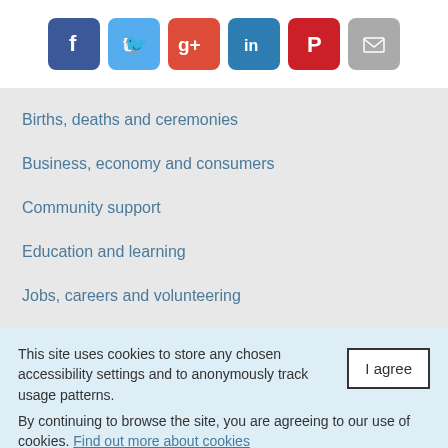[Figure (other): Row of social media share buttons: Facebook (blue), Twitter (light blue), Google+ (red), LinkedIn (teal), Pinterest (red), Email (grey)]
Births, deaths and ceremonies
Business, economy and consumers
Community support
Education and learning
Jobs, careers and volunteering
This site uses cookies to store any chosen accessibility settings and to anonymously track usage patterns.
By continuing to browse the site, you are agreeing to our use of cookies. Find out more about cookies